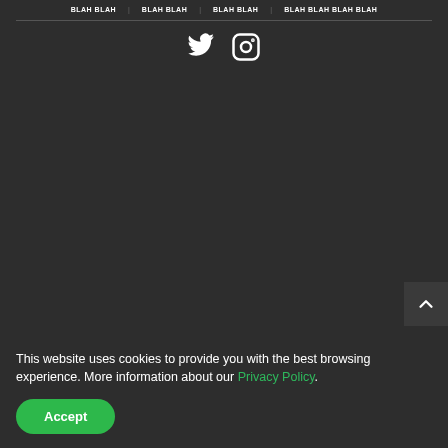BLAH BLAH | BLAH BLAH | BLAH BLAH | BLAH BLAH BLAH BLAH
[Figure (illustration): Twitter bird icon and Instagram camera icon, white on dark background]
[Figure (illustration): Scroll-to-top button with upward chevron arrow, dark background]
This website uses cookies to provide you with the best browsing experience. More information about our Privacy Policy.
Accept